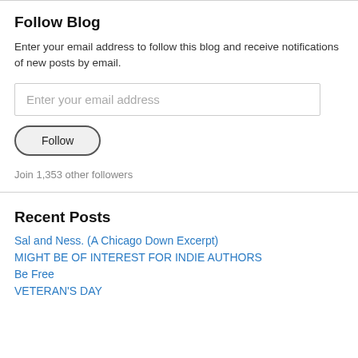Follow Blog
Enter your email address to follow this blog and receive notifications of new posts by email.
Enter your email address
Follow
Join 1,353 other followers
Recent Posts
Sal and Ness. (A Chicago Down Excerpt)
MIGHT BE OF INTEREST FOR INDIE AUTHORS
Be Free
VETERAN'S DAY